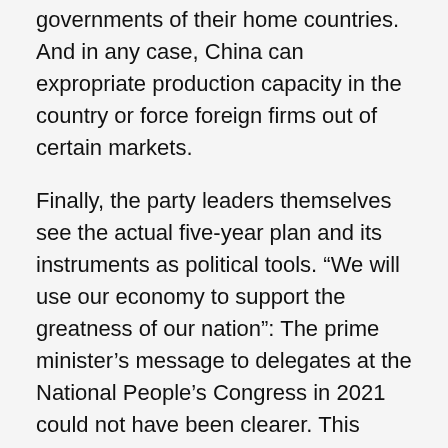governments of their home countries. And in any case, China can expropriate production capacity in the country or force foreign firms out of certain markets.
Finally, the party leaders themselves see the actual five-year plan and its instruments as political tools. “We will use our economy to support the greatness of our nation”: The prime minister’s message to delegates at the National People’s Congress in 2021 could not have been clearer. This mandate allows the Party to remedy shortcomings of the plan using political means, or simply by changing its rhetoric.
Will it work?
As discussed in a series of articles in Qiushi, the Communist Party of China Central Committee’s bi-monthly periodical, the dual circulation strategy ostensibly solves three structural problems: the declining